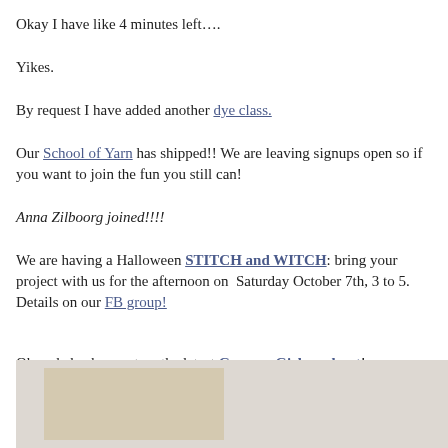Okay I have like 4 minutes left….
Yikes.
By request I have added another dye class.
Our School of Yarn has shipped!! We are leaving signups open so if you want to join the fun you still can!
Anna Zilboorg joined!!!!
We are having a Halloween STITCH and WITCH: bring your project with us for the afternoon on Saturday October 7th, 3 to 5. Details on our FB group!
Oh and check us out on the latest Grocery Girls podcast! And…time is up. I am sure there are typos!! What is your favorite thing about Autumn?!
[Figure (photo): Partial view of a photo with beige/cream colored background, partially visible at bottom of page]